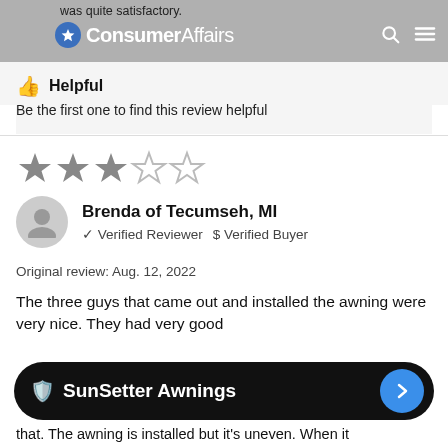was quite satisfactory. ConsumerAffairs
👍 Helpful
Be the first one to find this review helpful
[Figure (other): 3 out of 5 star rating: 3 filled stars and 2 empty stars]
Brenda of Tecumseh, MI
✓ Verified Reviewer  $ Verified Buyer
Original review: Aug. 12, 2022
The three guys that came out and installed the awning were very nice. They had very good
🛡 SunSetter Awnings
that. The awning is installed but it's uneven. When it